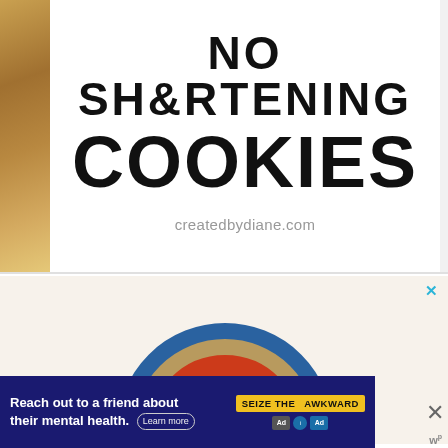[Figure (photo): Top portion of a food blog image showing 'NO SHORTENING COOKIES' text and 'createdbydiane.com' URL on white background with wooden cutting board visible on left edge]
[Figure (illustration): Advertisement with rainbow illustration in blue, tan/khaki, and red/orange colors on cream background with 'BE KIND.' text in red below the rainbow]
[Figure (other): Bottom banner advertisement: 'Reach out to a friend about their mental health. Learn more' with 'SEIZE THE AWKWARD' yellow badge. Dark navy blue background with white text. Ad icons and close X button on right side.]